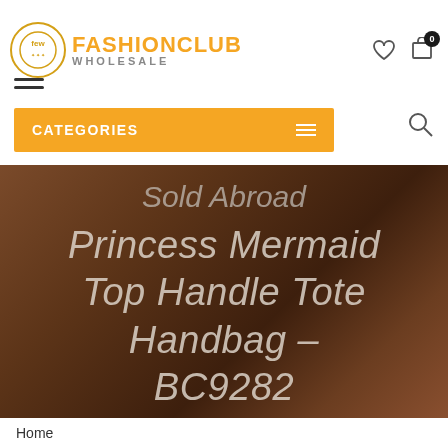FASHIONCLUB WHOLESALE
CATEGORIES
[Figure (screenshot): Product banner with brown gradient background showing text: Sold Abroad Princess Mermaid Top Handle Tote Handbag - BC9282]
Princess Mermaid Top Handle Tote Handbag - BC9282
Home